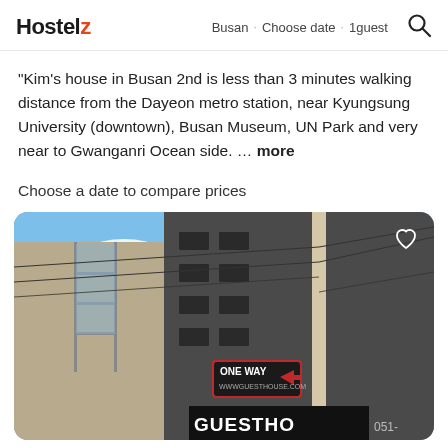Hostelz  Busan · Choose date · 1guest
"Kim's house in Busan 2nd is less than 3 minutes walking distance from the Dayeon metro station, near Kyungsung University (downtown), Busan Museum, UN Park and very near to Gwanganri Ocean side. … more
Choose a date to compare prices
[Figure (photo): Street-level upward photo of a multi-story urban building under construction next to a utility pole with cables; a red ONE WAY sign and a guesthouse sign are visible at the bottom right.]